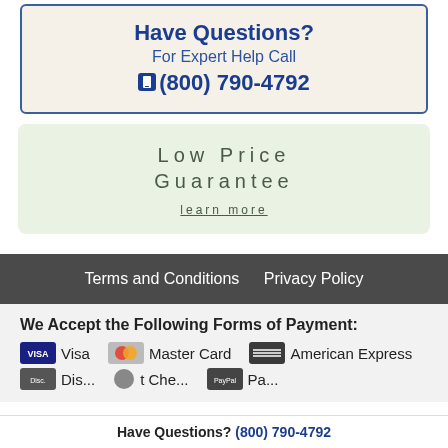Have Questions?
For Expert Help Call
(800) 790-4792
Low Price Guarantee
learn more
Terms and Conditions   Privacy Policy
We Accept the Following Forms of Payment:
Visa   Master Card   American Express
Have Questions? (800) 790-4792